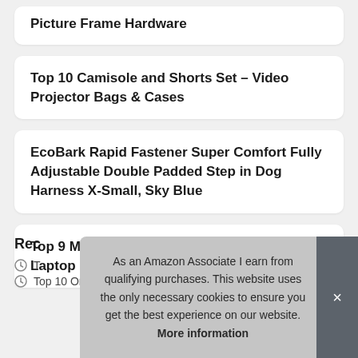Picture Frame Hardware
Top 10 Camisole and Shorts Set – Video Projector Bags & Cases
EcoBark Rapid Fastener Super Comfort Fully Adjustable Double Padded Step in Dog Harness X-Small, Sky Blue
Top 9 MacBook Air A1932 Screen Protector – Laptop Screen Protectors
Rec
T
Top 10 OnePlus Warp Charger – USB Cables
As an Amazon Associate I earn from qualifying purchases. This website uses the only necessary cookies to ensure you get the best experience on our website. More information